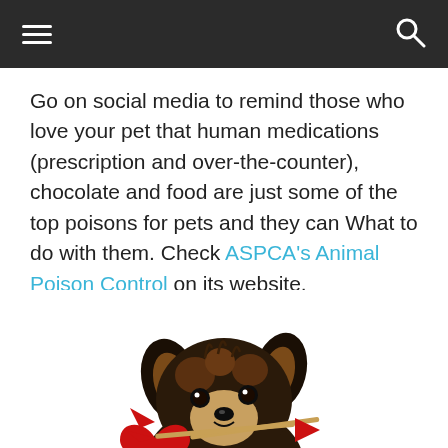Go on social media to remind those who love your pet that human medications (prescription and over-the-counter), chocolate and food are just some of the top poisons for pets and they can What to do with them. Check ASPCA's Animal Poison Control on its website.
[Figure (photo): A small Yorkshire Terrier puppy holding a red paper heart with a Cupid's arrow in its mouth against a white background.]